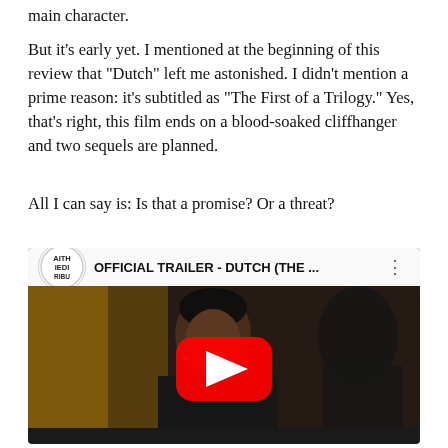main character.
But it's early yet. I mentioned at the beginning of this review that "Dutch" left me astonished. I didn't mention a prime reason: it's subtitled as "The First of a Trilogy." Yes, that's right, this film ends on a blood-soaked cliffhanger and two sequels are planned.
All I can say is: Is that a promise? Or a threat?
[Figure (screenshot): Embedded YouTube video player showing the official trailer for 'Dutch (The...). The video thumbnail shows a young Black man smiling, with a red YouTube play button overlay. The video header shows a circular channel logo with text 'AITH IEDI RIBU' and the title 'OFFICIAL TRAILER - DUTCH (THE ...' with a three-dot menu icon.]